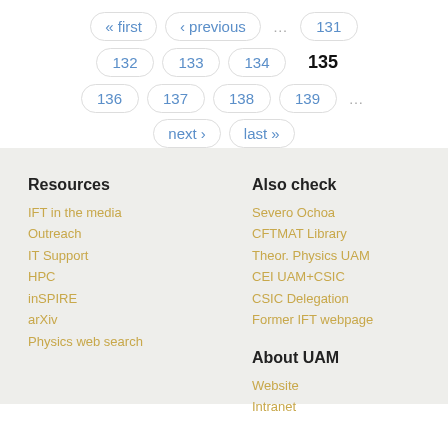« first
‹ previous
...
131
132
133
134
135 (current)
136
137
138
139
...
next ›
last »
Resources
IFT in the media
Outreach
IT Support
HPC
inSPIRE
arXiv
Physics web search
Also check
Severo Ochoa
CFTMAT Library
Theor. Physics UAM
CEI UAM+CSIC
CSIC Delegation
Former IFT webpage
About UAM
Website
Intranet